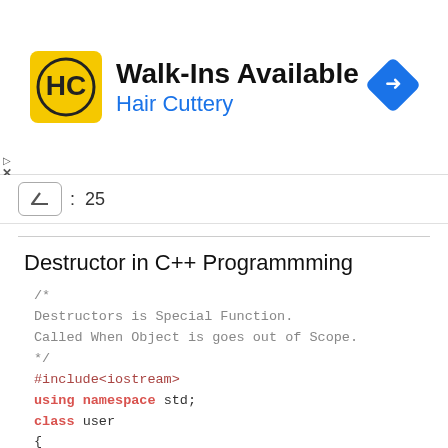[Figure (screenshot): Advertisement banner for Hair Cuttery with logo, 'Walk-Ins Available' text, and a blue navigation diamond icon]
▲  :  25
Destructor in C++ Programmming
/*
Destructors is Special Function.
Called When Object is goes out of Scope.
*/
#include<iostream>
using namespace std;
class user
{
public:
    user()
    {
        cout<<"Constructor is Called Object Created"*
    }